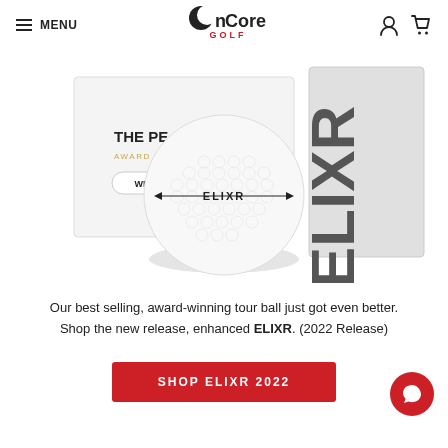MENU | OnCore GOLF | [user icon] [cart icon]
[Figure (photo): OnCore Golf ELIXR golf ball product photo showing white golf ball with black ELIXR text and arrows, positioned in front of white product box labeled THE PE... AWARD WI... WHITE, with ELIXR text visible on box side]
Our best selling, award-winning tour ball just got even better. Shop the new release, enhanced ELIXR. (2022 Release)
SHOP ELIXR 2022